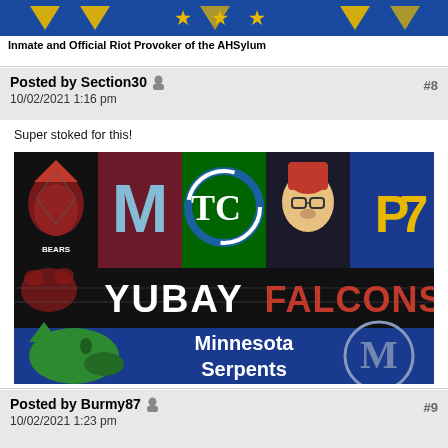[Figure (screenshot): Top blue banner with logo/graphic]
Inmate and Official Riot Provoker of the AHSylum
Posted by Section30 🔒 #8
10/02/2021 1:16 pm
Super stoked for this!
[Figure (illustration): Collage of sports team logos: bears, M letter, interlocked TC, spartan/trojan mascot with glasses, P7 blue/gold logo; second row: bear logo, YUBAY text, FALCONS red text; third row: Minnesota Serpents blue banner with green wolf head and M logo]
Posted by Burmy87 🔒 #9
10/02/2021 1:23 pm